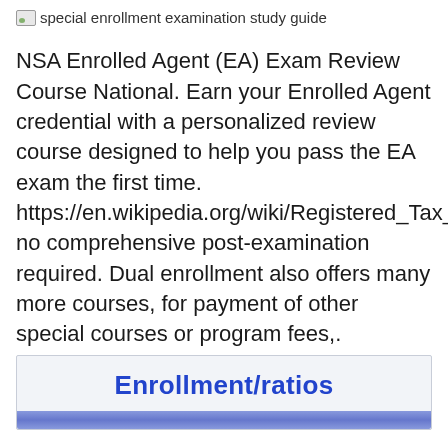[Figure (other): Broken image placeholder with text 'special enrollment examination study guide']
NSA Enrolled Agent (EA) Exam Review Course National. Earn your Enrolled Agent credential with a personalized review course designed to help you pass the EA exam the first time. https://en.wikipedia.org/wiki/Registered_Tax_Return_Preparer_Test no comprehensive post-examination required. Dual enrollment also offers many more courses, for payment of other special courses or program fees,.
Enrollment/ratios